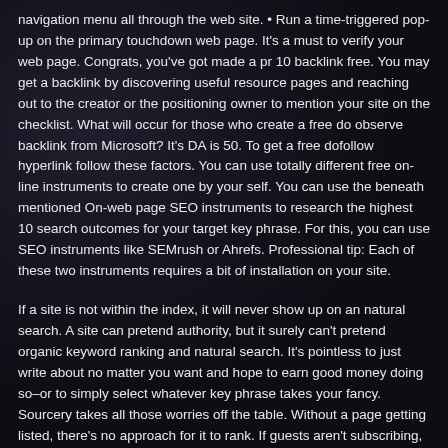navigation menu all through the web site. • Run a time-triggered pop-up on the primary touchdown web page. It's a must to verify your web page. Congrats, you've got made a pr 10 backlink free. You may get a backlink by discovering useful resource pages and reaching out to the creator or the positioning owner to mention your site on the checklist. What will occur for those who create a free do observe backlink from Microsoft? It's DA is 50. To get a free dofollow hyperlink follow these factors. You can use totally different free on-line instruments to create one by your self. You can use the beneath mentioned On-web page SEO instruments to research the highest 10 search outcomes for your target key phrase. For this, you can use SEO instruments like SEMrush or Ahrefs. Professional tip: Each of these two instruments requires a bit of installation on your site.
If a site is not within the index, it will never show up on an natural search. A site can pretend authority, but it surely can't pretend organic keyword ranking and natural search. It's pointless to just write about no matter you want and hope to earn good money doing so–or to simply select whatever key phrase takes your fancy. Sourcery takes all those worries off the table. Without a page getting listed, there's no approach for it to rank. If guests aren't subscribing, buying a product or making return visits to your webpage, then you are getting the fallacious form of referral site visitors. Don't hassle getting backlinks from any site that is not listed. Are you aware Role Of Backlinks? Suppose there are two men named as A and B.